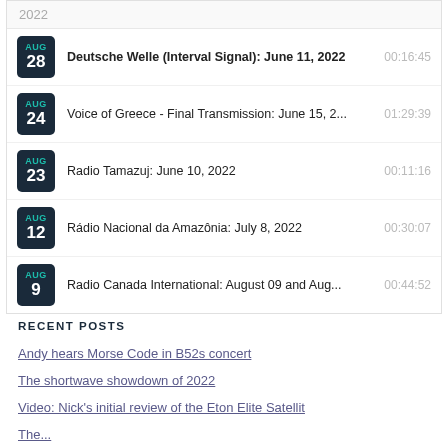2022
Deutsche Welle (Interval Signal): June 11, 2022 | AUG 28 | 00:16:45
Voice of Greece - Final Transmission: June 15, 2... | AUG 24 | 01:29:39
Radio Tamazuj: June 10, 2022 | AUG 23 | 00:11:16
Rádio Nacional da Amazônia: July 8, 2022 | AUG 12 | 00:30:07
Radio Canada International: August 09 and Aug... | AUG 9 | 00:44:52
RECENT POSTS
Andy hears Morse Code in B52s concert
The shortwave showdown of 2022
Video: Nick's initial review of the Eton Elite Satellit
The...